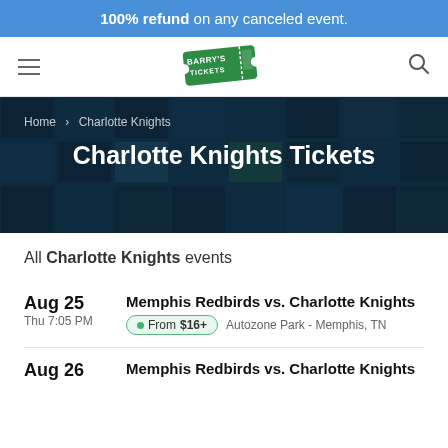100% refund on any canceled event.
[Figure (logo): Barry's Tickets logo — green ticket graphic with white text]
[Figure (photo): Dark blue mosaic/tile hero background image]
Home > Charlotte Knights
Charlotte Knights Tickets
All Charlotte Knights events
Aug 25 Thu 7:05 PM — Memphis Redbirds vs. Charlotte Knights — From $16+ — Autozone Park - Memphis, TN
Aug 26 — Memphis Redbirds vs. Charlotte Knights